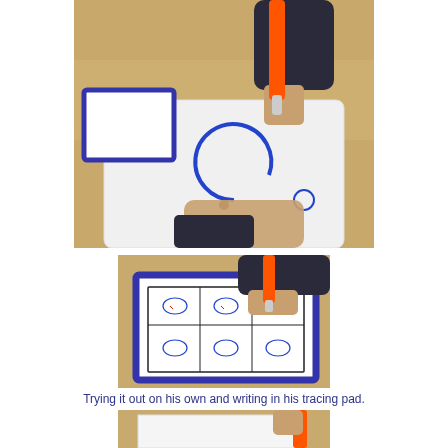[Figure (photo): Child's hand holding an orange marker tracing a letter C shape on a white card/board on a wooden table, with a blue-framed card visible in the background]
[Figure (photo): Child's hand holding an orange marker writing on a tracing pad with a blue border, showing a grid of small oval/circle letter practice shapes]
Trying it out on his own and writing in his tracing pad.
[Figure (photo): Partial view of a child's hand holding an orange marker over a white paper on a table, cut off at the bottom of the page]